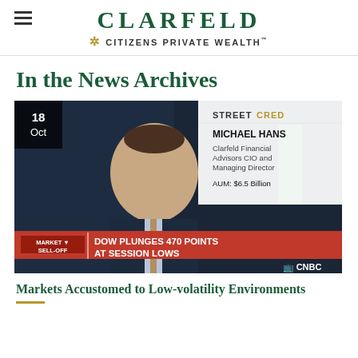CLARFELD | CITIZENS PRIVATE WEALTH
In the News Archives
[Figure (screenshot): CNBC TV screenshot showing Michael Hans, Clarfeld Financial Advisors CIO and Managing Director, AUM: $6.5 Billion. Lower-third banner reads 'MARKET SELL-OFF | DOW PLUNGES 470 POINTS AT SESSION LOWS'. Top-right overlay shows 'STREET CRED' branding. Date badge shows '18 Oct'.]
Markets Accustomed to Low-volatility Environments